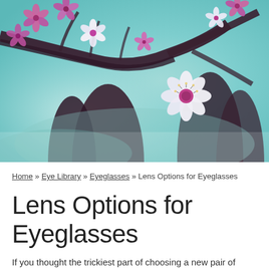[Figure (photo): Close-up photograph of cherry blossom flowers with pink and white petals on dark branches, with a blurred teal/cyan background]
Home » Eye Library » Eyeglasses » Lens Options for Eyeglasses
Lens Options for Eyeglasses
If you thought the trickiest part of choosing a new pair of